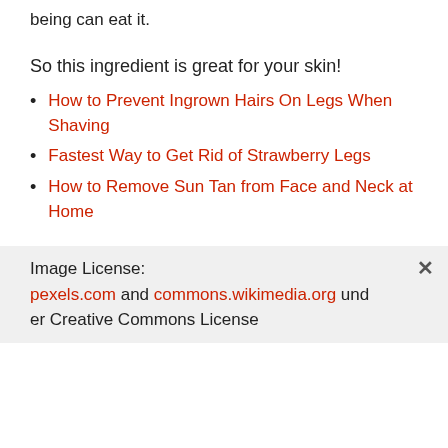being can eat it.
So this ingredient is great for your skin!
How to Prevent Ingrown Hairs On Legs When Shaving
Fastest Way to Get Rid of Strawberry Legs
How to Remove Sun Tan from Face and Neck at Home
Image License: pexels.com and commons.wikimedia.org under Creative Commons License